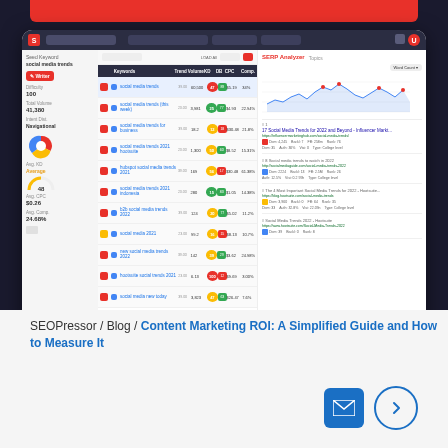[Figure (screenshot): SEMrush keyword research tool screenshot showing keyword data for 'social media trends' with SERP analysis panel on the right]
SEOPressor / Blog / Content Marketing ROI: A Simplified Guide and How to Measure It